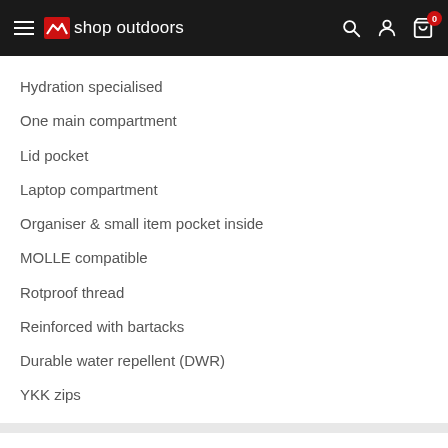shop outdoors
Hydration specialised
One main compartment
Lid pocket
Laptop compartment
Organiser & small item pocket inside
MOLLE compatible
Rotproof thread
Reinforced with bartacks
Durable water repellent (DWR)
YKK zips
Payment & Security